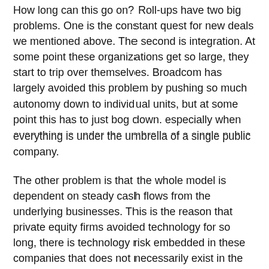How long can this go on? Roll-ups have two big problems. One is the constant quest for new deals we mentioned above. The second is integration. At some point these organizations get so large, they start to trip over themselves. Broadcom has largely avoided this problem by pushing so much autonomy down to individual units, but at some point this has to just bog down. especially when everything is under the umbrella of a single public company.
The other problem is that the whole model is dependent on steady cash flows from the underlying businesses. This is the reason that private equity firms avoided technology for so long, there is technology risk embedded in these companies that does not necessarily exist in the more traditional companies the private equity funds typically favor. And this is why we keep an eye on Broadcom's semis businesses R&D. There are no gaping flaws today – they remain incredibly